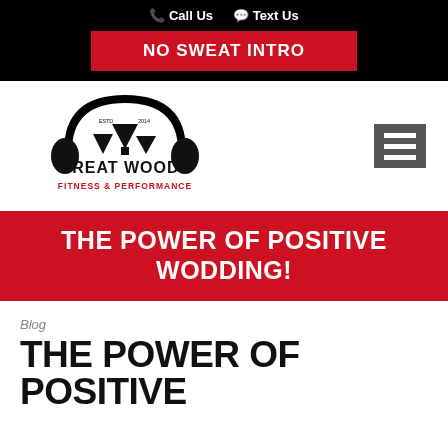Call Us  Text Us
NO SWEAT INTRO
[Figure (logo): Great Woods Fitness & Performance logo with barbell/headphone graphic and trees, established 2014]
THE POWER OF POSITIVE WODDING!
Blog
THE POWER OF POSITIVE